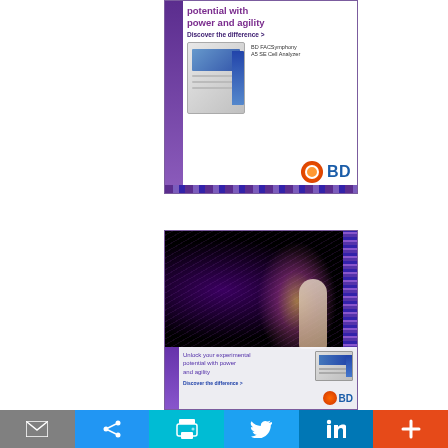[Figure (illustration): BD advertisement banner (top): Purple and white design featuring BD FACSymphony A5 SE Cell Analyzer. Text reads 'potential with power and agility' (purple headline), 'Discover the difference >' (dark blue tagline). Shows instrument image with BD logo (orange sunburst icon + blue BD text).]
[Figure (illustration): BD advertisement banner (bottom): Dark swirling light photography background with person in lab coat, overlaid with white panel. Text reads 'Unlock your experimental potential with power and agility', 'Discover the difference >', with small device image and BD logo.]
[Figure (infographic): Social media sharing toolbar at the bottom of the page with six buttons: email (gray), share/link (blue), print (teal), Twitter (blue bird), LinkedIn (blue), and plus/more (orange-red).]